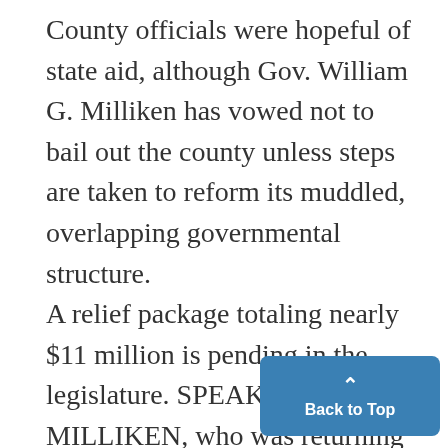County officials were hopeful of state aid, although Gov. William G. Milliken has vowed not to bail out the county unless steps are taken to reform its muddled, overlapping governmental structure. A relief package totaling nearly $11 million is pending in the legislature. SPEAKING FOR MILLIKEN, who was returning from a 10-day visit to China, Lt. Gov. James H. Brickley said he believes the governor will ap the aid if a charter commission med to reorganize county government